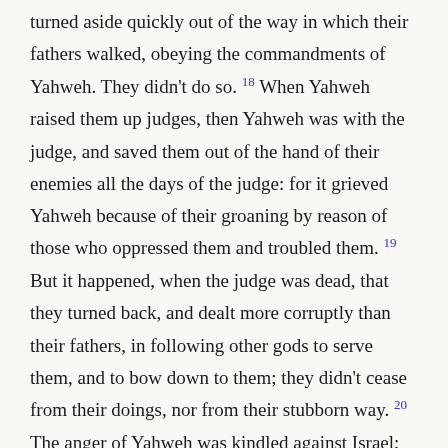turned aside quickly out of the way in which their fathers walked, obeying the commandments of Yahweh. They didn't do so. 18 When Yahweh raised them up judges, then Yahweh was with the judge, and saved them out of the hand of their enemies all the days of the judge: for it grieved Yahweh because of their groaning by reason of those who oppressed them and troubled them. 19 But it happened, when the judge was dead, that they turned back, and dealt more corruptly than their fathers, in following other gods to serve them, and to bow down to them; they didn't cease from their doings, nor from their stubborn way. 20 The anger of Yahweh was kindled against Israel; and he said, "Because this nation have transgressed my